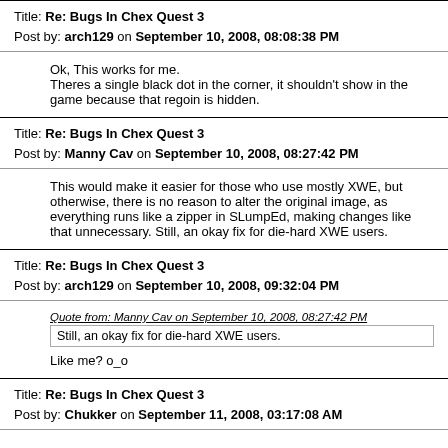Title: Re: Bugs In Chex Quest 3
Post by: arch129 on September 10, 2008, 08:08:38 PM
Ok, This works for me.
Theres a single black dot in the corner, it shouldn't show in the game because that regoin is hidden.
Title: Re: Bugs In Chex Quest 3
Post by: Manny Cav on September 10, 2008, 08:27:42 PM
This would make it easier for those who use mostly XWE, but otherwise, there is no reason to alter the original image, as everything runs like a zipper in SLumpEd, making changes like that unnecessary. Still, an okay fix for die-hard XWE users.
Title: Re: Bugs In Chex Quest 3
Post by: arch129 on September 10, 2008, 09:32:04 PM
Quote from: Manny Cav on September 10, 2008, 08:27:42 PM
Still, an okay fix for die-hard XWE users.
Like me? o_o
Title: Re: Bugs In Chex Quest 3
Post by: Chukker on September 11, 2008, 03:17:08 AM